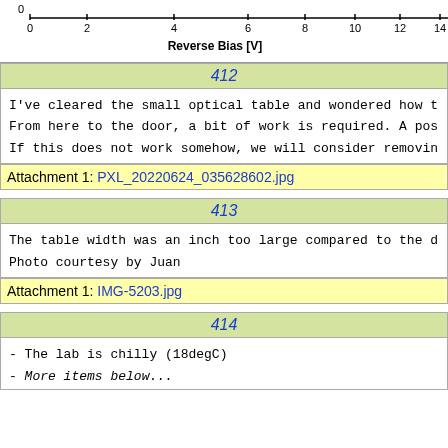[Figure (continuous-plot): Top portion of a graph with x-axis labeled 'Reverse Bias [V]' showing tick marks at 0, 2, 4, 6, 8, 10, 12, 14, with a horizontal axis line and a '0' marker at top left.]
412
I've cleared the small optical table and wondered how t
From here to the door, a bit of work is required. A pos
If this does not work somehow, we will consider removin
Attachment 1: PXL_20220624_035628602.jpg
413
The table width was an inch too large compared to the d
Photo courtesy by Juan
Attachment 1: IMG-5203.jpg
414
- The lab is chilly (18degC)
- ...